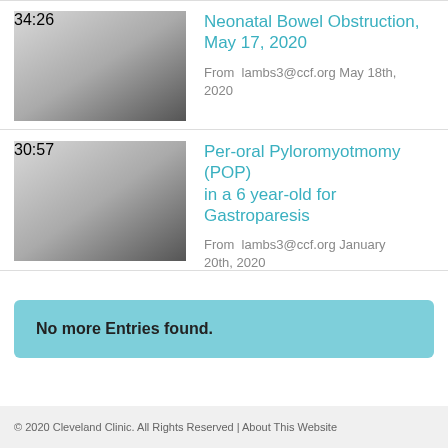[Figure (screenshot): Video thumbnail with gradient (light to dark) showing duration 34:26]
Neonatal Bowel Obstruction, May 17, 2020
From lambs3@ccf.org May 18th, 2020
[Figure (screenshot): Video thumbnail with gradient (light to dark) showing duration 30:57]
Per-oral Pyloromyotmomy (POP) in a 6 year-old for Gastroparesis
From lambs3@ccf.org January 20th, 2020
No more Entries found.
© 2020 Cleveland Clinic. All Rights Reserved | About This Website